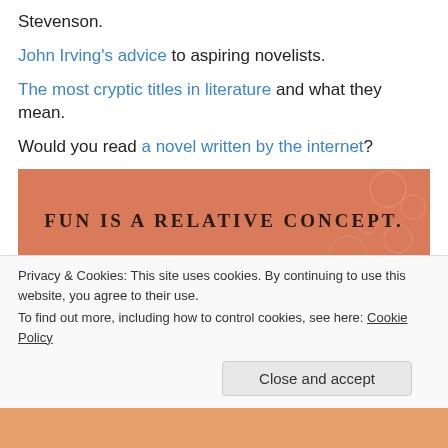Stevenson.
John Irving's advice to aspiring novelists.
The most cryptic titles in literature and what they mean.
Would you read a novel written by the internet?
[Figure (illustration): Orange/salmon colored illustration with handwritten-style text reading 'FUN IS A RELATIVE CONCEPT.' with a cartoon character (yellow creature) and small objects scattered around.]
Privacy & Cookies: This site uses cookies. By continuing to use this website, you agree to their use.
To find out more, including how to control cookies, see here: Cookie Policy
Close and accept